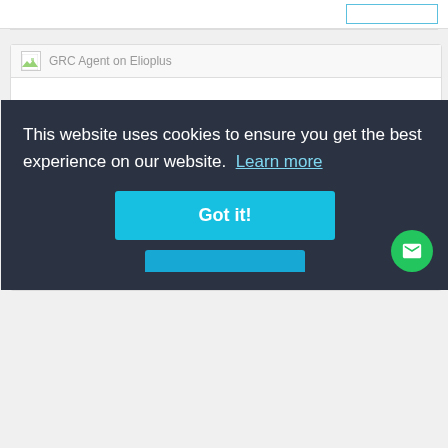[Figure (screenshot): Browser tab area showing broken image icon and page title 'GRC Agent on Elioplus']
GRC Agent
Oups, we are sorry but there are no description data for this company.
Country: United States   City: Las Vegas
This website uses cookies to ensure you get the best experience on our website. Learn more
Got it!